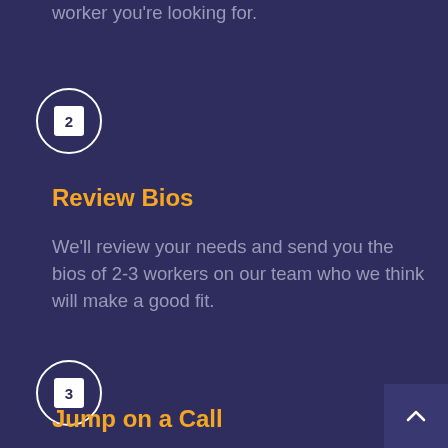worker you're looking for.
[Figure (illustration): Step 2 circle icon with number 2 in a white box, white circle border on dark blue background]
Review Bios
We'll review your needs and send you the bios of 2-3 workers on our team who we think will make a good fit.
[Figure (illustration): Step 3 circle icon with number 3 in a white box, white circle border on dark blue background]
Jump on a Call